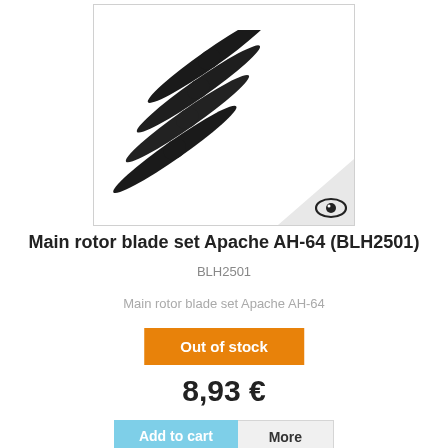[Figure (photo): Four black helicopter main rotor blades arranged diagonally on a white background, with an eye/preview icon in the bottom-right corner.]
Main rotor blade set Apache AH-64 (BLH2501)
BLH2501
Main rotor blade set Apache AH-64
Out of stock
8,93 €
Add to cart
More